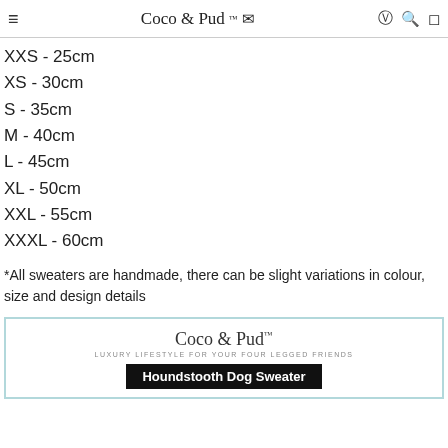Coco & Pud™ [navigation icons]
XXS - 25cm
XS - 30cm
S - 35cm
M - 40cm
L - 45cm
XL - 50cm
XXL - 55cm
XXXL - 60cm
*All sweaters are handmade, there can be slight variations in colour, size and design details
[Figure (logo): Coco & Pud product card with logo and 'Houndstooth Dog Sweater' title on black banner]